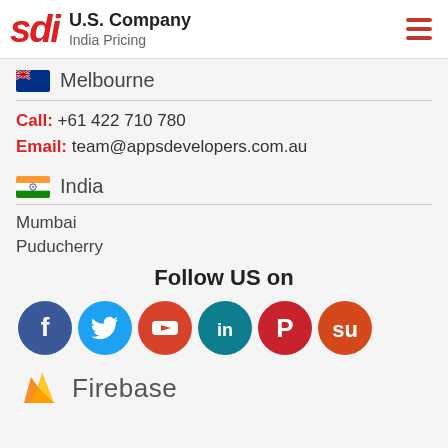sdi U.S. Company India Pricing
Melbourne
Call: +61 422 710 780
Email: team@appsdevelopers.com.au
India
Mumbai
Puducherry
Follow US on
[Figure (infographic): Social media icons: Facebook (dark blue), Twitter (light blue), YouTube (red-orange), LinkedIn (teal), Pinterest (red), StumbleUpon (orange-red)]
[Figure (logo): Firebase logo with flame icon and text 'Firebase']